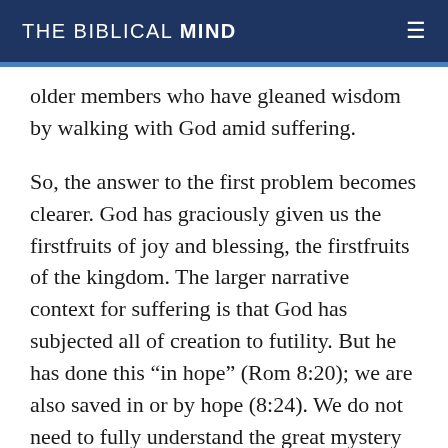THE BIBLICAL MIND
older members who have gleaned wisdom by walking with God amid suffering.
So, the answer to the first problem becomes clearer. God has graciously given us the firstfruits of joy and blessing, the firstfruits of the kingdom. The larger narrative context for suffering is that God has subjected all of creation to futility. But he has done this “in hope” (Rom 8:20); we are also saved in or by hope (8:24). We do not need to fully understand the great mystery of suffering (or even my particular